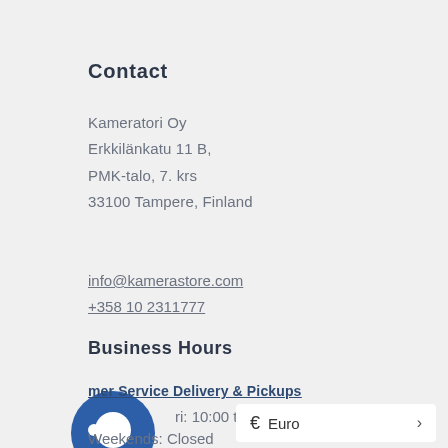Contact
Kameratori Oy
Erkkilänkatu 11 B,
PMK-talo, 7. krs
33100 Tampere, Finland
info@kamerastore.com
+358 10 2311777
Business Hours
Customer Service Delivery & Pickups
Mon-Fri: 10:00 to 16:00
Weekends: Closed
€  Euro